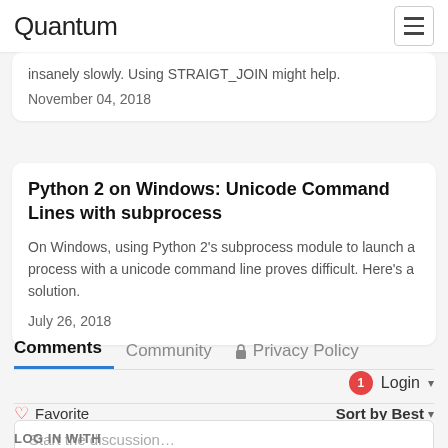Quantum
MySQL/MariaDB Queries with STRAIGHT_JOIN Sometimes, MySQL/MariaDB queries with many joins run insanely slowly. Using STRAIGT_JOIN might help.
November 04, 2018
Python 2 on Windows: Unicode Command Lines with subprocess
On Windows, using Python 2's subprocess module to launch a process with a unicode command line proves difficult. Here's a solution.
July 26, 2018
Comments   Community   Privacy Policy
Login
Favorite
Sort by Best
Start the discussion…
LOG IN WITH